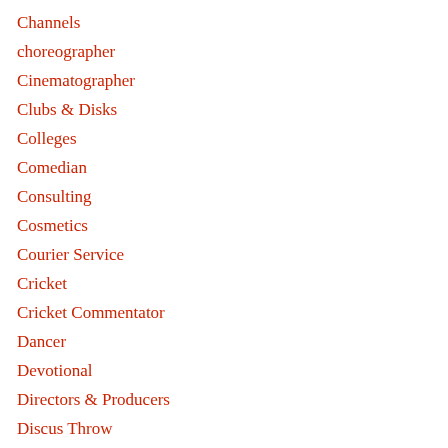Channels
choreographer
Cinematographer
Clubs & Disks
Colleges
Comedian
Consulting
Cosmetics
Courier Service
Cricket
Cricket Commentator
Dancer
Devotional
Directors & Producers
Discus Throw